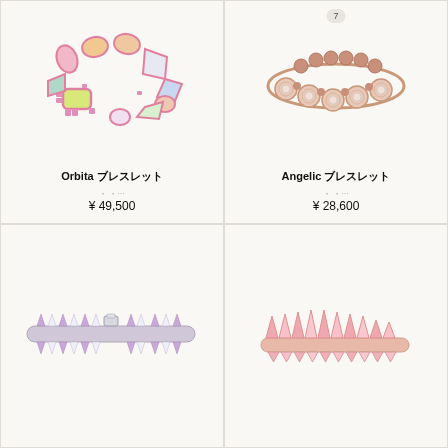[Figure (photo): Orbita bracelet with multicolored stones and pink crystal frames]
Orbita ブレスレット
¥ 49,500
[Figure (photo): Angelic bracelet with rose gold and round crystal elements]
Angelic ブレスレット
¥ 28,600
[Figure (photo): Silver tennis bracelet with purple and white triangular crystals]
[Figure (photo): Rose gold bracelet with pink triangular crystal spikes]